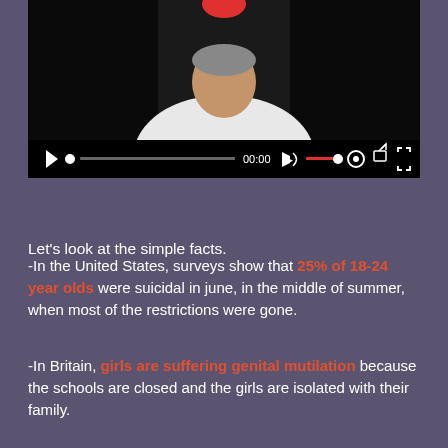[Figure (screenshot): Video player screenshot showing a person in white shirt with video controls bar at bottom (play button, progress bar, timestamp 00:00, volume, settings, and fullscreen icons)]
Let’s look at the simple facts.
-In the United States, surveys show that 25% of 18-24 year olds were suicidal in june, in the middle of summer, when most of the restrictions were gone.
-In Britain, girls are suffering genital mutilation because the schools are closed and the girls are isolated with their family.
-Worldwide, tens of millions of cases of female abuse are...